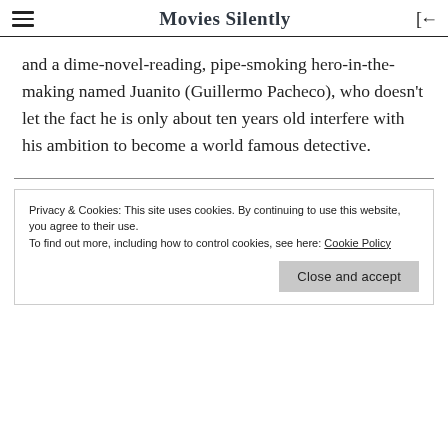Movies Silently
and a dime-novel-reading, pipe-smoking hero-in-the-making named Juanito (Guillermo Pacheco), who doesn't let the fact he is only about ten years old interfere with his ambition to become a world famous detective.
Privacy & Cookies: This site uses cookies. By continuing to use this website, you agree to their use.
To find out more, including how to control cookies, see here: Cookie Policy
Close and accept